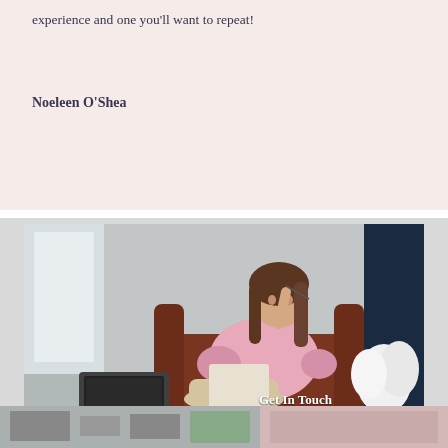experience and one you'll want to repeat!
Noeleen O'Shea
[Figure (photo): A woman with long brown hair wearing a pink ruffled top and beige trousers, sitting in a brown leather armchair, writing on a clipboard. A laptop is on the floor to her left and white flowers are on the right. Text overlay reads 'Get In Touch'.]
[Figure (photo): Partial view of two images at the bottom of the page.]